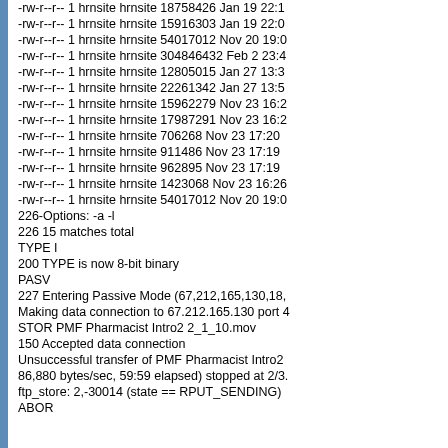-rw-r--r-- 1 hrnsite hrnsite 18758426 Jan 19 22:1
-rw-r--r-- 1 hrnsite hrnsite 15916303 Jan 19 22:0
-rw-r--r-- 1 hrnsite hrnsite 54017012 Nov 20 19:0
-rw-r--r-- 1 hrnsite hrnsite 304846432 Feb 2 23:4
-rw-r--r-- 1 hrnsite hrnsite 12805015 Jan 27 13:3
-rw-r--r-- 1 hrnsite hrnsite 22261342 Jan 27 13:5
-rw-r--r-- 1 hrnsite hrnsite 15962279 Nov 23 16:2
-rw-r--r-- 1 hrnsite hrnsite 17987291 Nov 23 16:2
-rw-r--r-- 1 hrnsite hrnsite 706268 Nov 23 17:20 
-rw-r--r-- 1 hrnsite hrnsite 911486 Nov 23 17:19 
-rw-r--r-- 1 hrnsite hrnsite 962895 Nov 23 17:19 
-rw-r--r-- 1 hrnsite hrnsite 1423068 Nov 23 16:26
-rw-r--r-- 1 hrnsite hrnsite 54017012 Nov 20 19:0
226-Options: -a -l
226 15 matches total
TYPE I
200 TYPE is now 8-bit binary
PASV
227 Entering Passive Mode (67,212,165,130,18,
Making data connection to 67.212.165.130 port 4
STOR PMF Pharmacist Intro2 2_1_10.mov
150 Accepted data connection
Unsuccessful transfer of PMF Pharmacist Intro2
86,880 bytes/sec, 59:59 elapsed) stopped at 2/3.
ftp_store: 2,-30014 (state == RPUT_SENDING)
ABOR